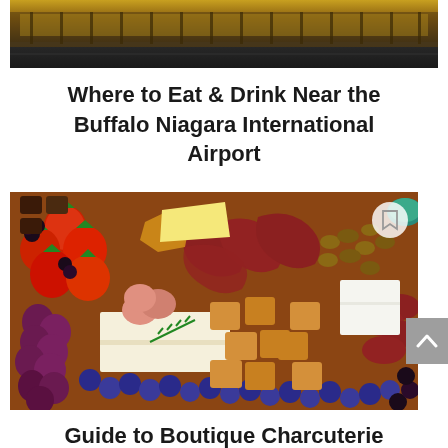[Figure (photo): Exterior of Buffalo Niagara International Airport at night with yellow-lit facade and road in foreground]
Where to Eat & Drink Near the Buffalo Niagara International Airport
[Figure (photo): Overhead view of a charcuterie board with strawberries, blueberries, grapes, blackberries, meats, cheeses, crackers, almonds, and chocolate candies]
Guide to Boutique Charcuterie